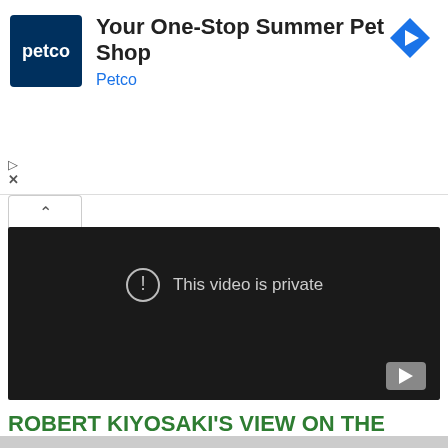[Figure (screenshot): Petco advertisement banner with Petco logo (dark blue square with white 'petco' text), ad title 'Your One-Stop Summer Pet Shop', subtitle 'Petco' in blue, and a blue diamond-shaped navigation arrow icon on the right. Small play and X icons on the lower left.]
[Figure (screenshot): YouTube video embed showing a dark/black video player with a circular exclamation mark icon and the text 'This video is private' in light gray. A YouTube play button icon is in the bottom right corner. A white tab with an up-arrow chevron is above the player on the left.]
ROBERT KIYOSAKI'S VIEW ON THE VALUE OF REAL MONEY